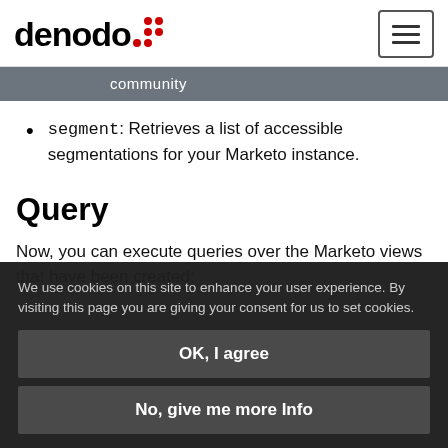denodo [logo] | hamburger menu
community
segment: Retrieves a list of accessible segmentations for your Marketo instance.
Query
Now, you can execute queries over the Marketo views that have been created:
We use cookies on this site to enhance your user experience. By visiting this page you are giving your consent for us to set cookies.
OK, I agree
No, give me more Info